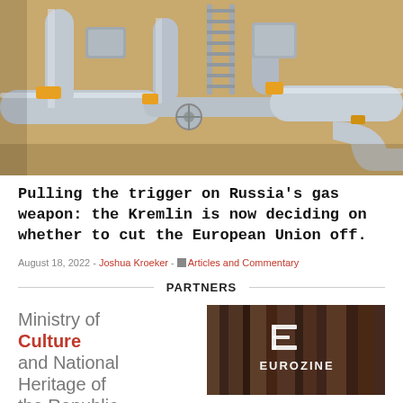[Figure (photo): Aerial view of industrial gas pipeline infrastructure with large pipes, valves, and yellow-painted fittings on a sandy ground]
Pulling the trigger on Russia's gas weapon: the Kremlin is now deciding on whether to cut the European Union off.
August 18, 2022 - Joshua Kroeker - Articles and Commentary
PARTNERS
[Figure (logo): Ministry of Culture and National Heritage of the Republic logo text]
[Figure (logo): Eurozine logo on a background of stacked books/magazines]